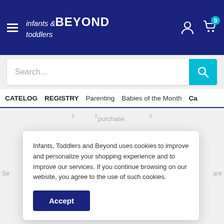[Figure (logo): Infants & Toddlers BEYOND logo in white on dark blue header, with hamburger menu, user icon, and cart icon with badge 0]
[Figure (screenshot): Search bar with placeholder text 'Search...' and teal search button]
CATELOG   REGISTRY   Parenting   Babies of the Month   Ca
purchase.
[Figure (infographic): Secure payments icon: credit card with a padlock, in dark blue and teal]
Secure Payments
Se
are
Infants, Toddlers and Beyond uses cookies to improve and personalize your shopping experience and to improve our services. If you continue browsing on our website, you agree to the use of such cookies.
Accept